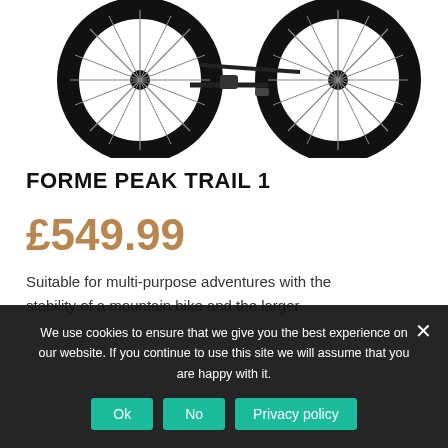[Figure (photo): Partial view of a black mountain bike (Forme Peak Trail 1), showing the bottom portion with two wheels on a white background.]
FORME PEAK TRAIL 1
£549.99
Suitable for multi-purpose adventures with the stability of a mountain bike and the larger
We use cookies to ensure that we give you the best experience on our website. If you continue to use this site we will assume that you are happy with it.